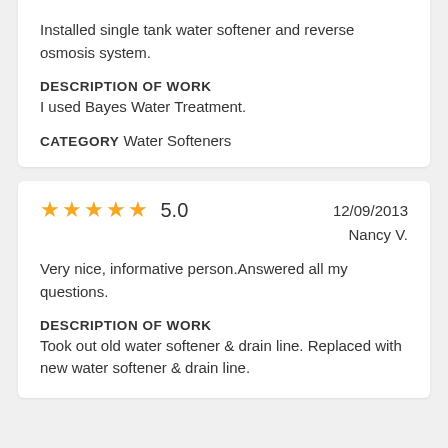Installed single tank water softener and reverse osmosis system.
DESCRIPTION OF WORK
I used Bayes Water Treatment.
CATEGORY Water Softeners
5.0   12/09/2013   Nancy V.
Very nice, informative person.Answered all my questions.
DESCRIPTION OF WORK
Took out old water softener & drain line. Replaced with new water softener & drain line.